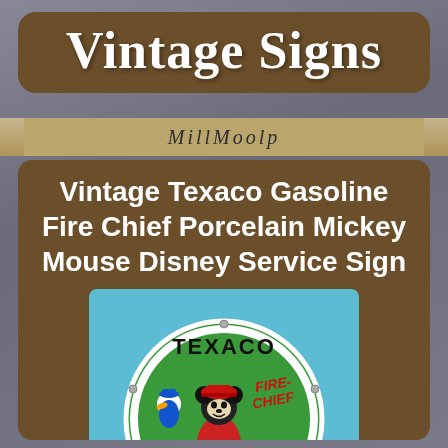Vintage Signs
Vintage Texaco Gasoline Fire Chief Porcelain Mickey Mouse Disney Service Sign
[Figure (photo): A vintage circular Texaco Fire Chief porcelain sign featuring Mickey Mouse dressed as a firefighter and Donald Duck, on a green background with text reading TEXACO, FIRE CHIEF, STEPPED-UP, QUICK response]